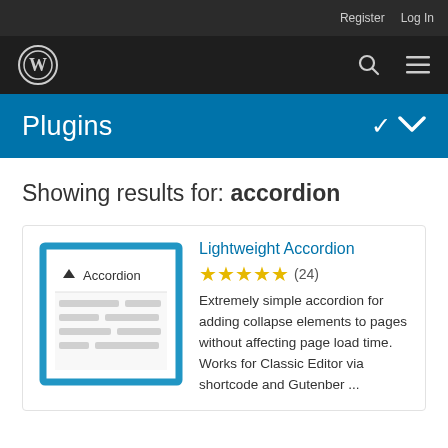Register  Log In
[Figure (logo): WordPress logo and navigation bar with search and menu icons]
Plugins
Showing results for: accordion
[Figure (screenshot): Plugin card thumbnail showing accordion UI mockup with blue border]
Lightweight Accordion
★★★★★ (24)
Extremely simple accordion for adding collapse elements to pages without affecting page load time. Works for Classic Editor via shortcode and Gutenber ...